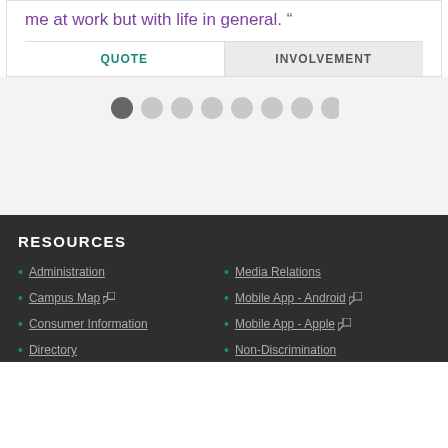me at work but with life in general. ”
QUOTE | INVOLVEMENT
[Figure (other): Pagination dots row with 8 circles, first one active/dark]
RESOURCES
Administration
Campus Map
Consumer Information
Directory
Media Relations
Mobile App - Android
Mobile App - Apple
Non-Discrimination